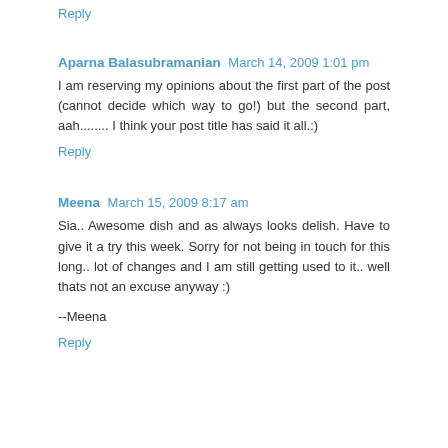Reply
Aparna Balasubramanian  March 14, 2009 1:01 pm
I am reserving my opinions about the first part of the post (cannot decide which way to go!) but the second part, aah........ I think your post title has said it all.:)
Reply
Meena  March 15, 2009 8:17 am
Sia.. Awesome dish and as always looks delish. Have to give it a try this week. Sorry for not being in touch for this long.. lot of changes and I am still getting used to it.. well thats not an excuse anyway :)
--Meena
Reply